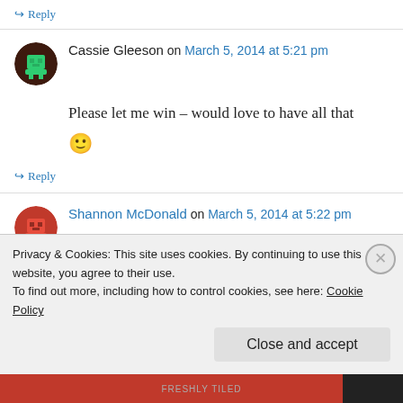↪ Reply
Cassie Gleeson on March 5, 2014 at 5:21 pm
Please let me win – would love to have all that 🙂
↪ Reply
Shannon McDonald on March 5, 2014 at 5:22 pm
Local cafe that uses organic produce (some
Privacy & Cookies: This site uses cookies. By continuing to use this website, you agree to their use. To find out more, including how to control cookies, see here: Cookie Policy
Close and accept